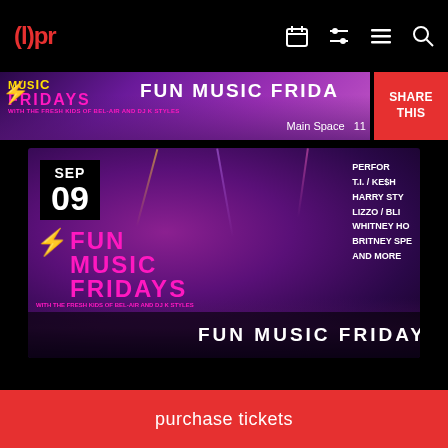(l)pr
[Figure (screenshot): Top partial event banner showing Fun Music Fridays with crowd and performer, title text cropped]
SHARE THIS
[Figure (photo): Event card for Fun Music Fridays on SEP 09 with performers list: T.I. / KE$H, HARRY STY, LIZZO / BLI, WHITNEY HO, BRITNEY SPE, AND MORE. Shows female performer on stage with crowd. Logo: FUN MUSIC FRIDAYS with lightning bolt. Subtitle: WITH THE FRESH KIDS OF BEL-AIR AND DJ K STYLES. Footer: FUN MUSIC FRIDAYS | Main Space 11:55PM]
purchase tickets